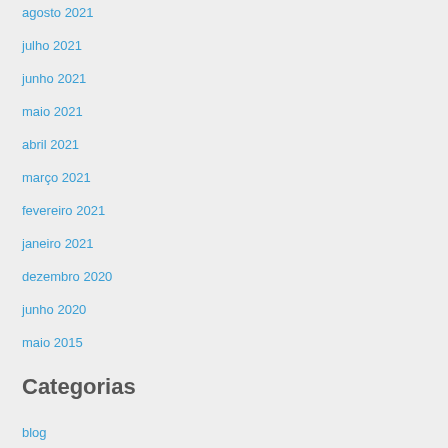agosto 2021
julho 2021
junho 2021
maio 2021
abril 2021
março 2021
fevereiro 2021
janeiro 2021
dezembro 2020
junho 2020
maio 2015
Categorias
blog